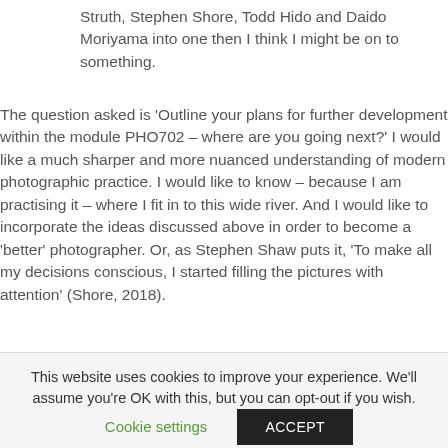Struth, Stephen Shore, Todd Hido and Daido Moriyama into one then I think I might be on to something.
The question asked is 'Outline your plans for further development within the module PHO702 – where are you going next?' I would like a much sharper and more nuanced understanding of modern photographic practice. I would like to know – because I am practising it – where I fit in to this wide river. And I would like to incorporate the ideas discussed above in order to become a 'better' photographer. Or, as Stephen Shaw puts it, 'To make all my decisions conscious, I started filling the pictures with attention' (Shore, 2018).
This website uses cookies to improve your experience. We'll assume you're OK with this, but you can opt-out if you wish.
Cookie settings
ACCEPT